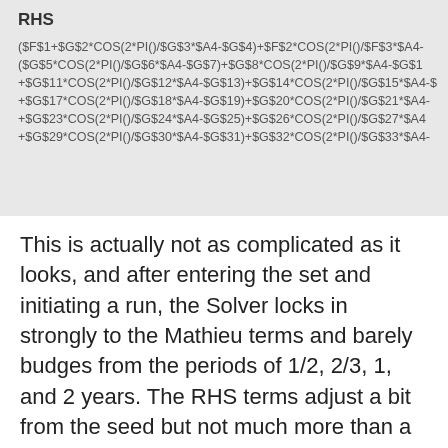[Figure (screenshot): A grey code/formula block showing a column header 'RHS' and multiple lines of spreadsheet-style formula text involving $F, $G, $A variables with COS(2*PI()) expressions.]
This is actually not as complicated as it looks, and after entering the set and initiating a run, the Solver locks in strongly to the Mathieu terms and barely budges from the periods of 1/2, 2/3, 1, and 2 years. The RHS terms adjust a bit from the seed but not much more than a few percent. The optimizing target is a hybrid metric of correlation coefficient and scaled error.